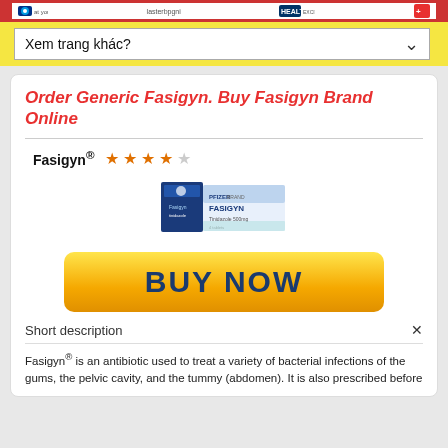[Figure (screenshot): Top red banner with white strip containing pharmacy/health website logos and text]
Xem trang khác?
Order Generic Fasigyn. Buy Fasigyn Brand Online
Fasigyn®
[Figure (photo): Product image of Fasigyn medication box - blue and white packaging]
[Figure (other): BUY NOW button - yellow/gold gradient rounded rectangle button with dark blue bold text]
Short description
Fasigyn® is an antibiotic used to treat a variety of bacterial infections of the gums, the pelvic cavity, and the tummy (abdomen). It is also prescribed before